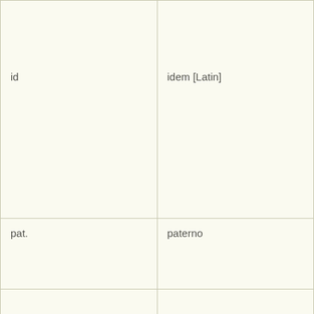| id | idem [Latin] |
| pat. | paterno |
|  |  |